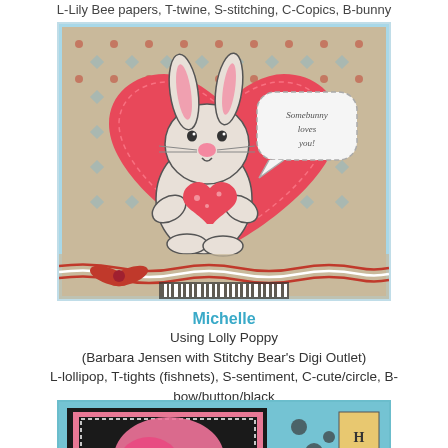L-Lily Bee papers, T-twine, S-stitching, C-Copics, B-bunny
[Figure (photo): Handmade Valentine card featuring a cute white bunny holding a red heart, set against a large red heart background on patterned paper. A speech bubble reads 'Somebunny loves you!' Red and white twine decorates the bottom.]
Michelle
Using Lolly Poppy
(Barbara Jensen with Stitchy Bear's Digi Outlet)
L-lollipop, T-tights (fishnets), S-sentiment, C-cute/circle, B-bow/button/black
[Figure (photo): Partial view of a handmade card with pink floral background, black layer, and a large circular element. Pink poppies or decorative flowers visible.]